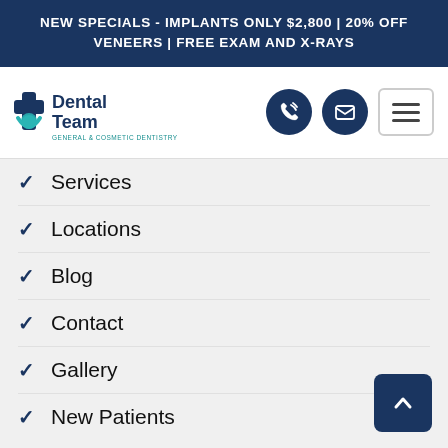NEW SPECIALS - IMPLANTS ONLY $2,800 | 20% OFF VENEERS | FREE EXAM AND X-RAYS
[Figure (logo): Dental Team - General & Cosmetic Dentistry logo with teal and navy blue branding]
Services
Locations
Blog
Contact
Gallery
New Patients
Newsletter